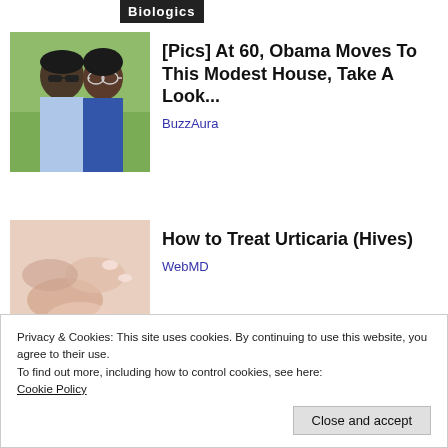Biologics
[Figure (photo): Photo of two people (man with sunglasses and woman with glasses) outdoors]
[Pics] At 60, Obama Moves To This Modest House, Take A Look...
BuzzAura
[Figure (photo): Close-up photo of hands, possibly scratching skin (urticaria/hives context)]
How to Treat Urticaria (Hives)
WebMD
Privacy & Cookies: This site uses cookies. By continuing to use this website, you agree to their use.
To find out more, including how to control cookies, see here: Cookie Policy
Close and accept